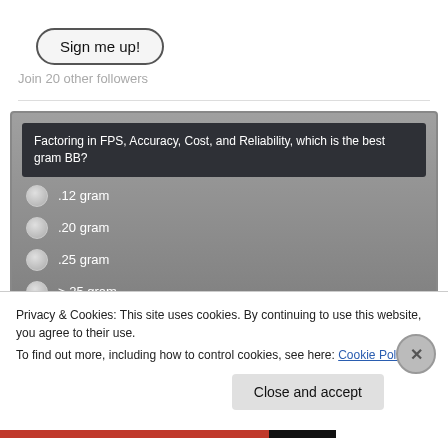[Figure (other): Sign me up! button with rounded pill border]
Join 20 other followers
[Figure (other): Poll widget with dark header asking: Factoring in FPS, Accuracy, Cost, and Reliability, which is the best gram BB? Options: .12 gram, .20 gram, .25 gram, >.25 gram]
Privacy & Cookies: This site uses cookies. By continuing to use this website, you agree to their use.
To find out more, including how to control cookies, see here: Cookie Policy
[Figure (other): Close and accept button for cookie banner]